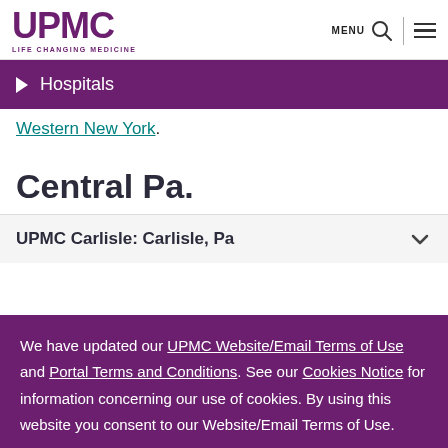[Figure (logo): UPMC logo with 'LIFE CHANGING MEDICINE' tagline in purple]
MENU (search icon and hamburger menu)
Hospitals
Western New York.
Central Pa.
UPMC Carlisle: Carlisle, Pa
We have updated our UPMC Website/Email Terms of Use and Portal Terms and Conditions. See our Cookies Notice for information concerning our use of cookies. By using this website you consent to our Website/Email Terms of Use.